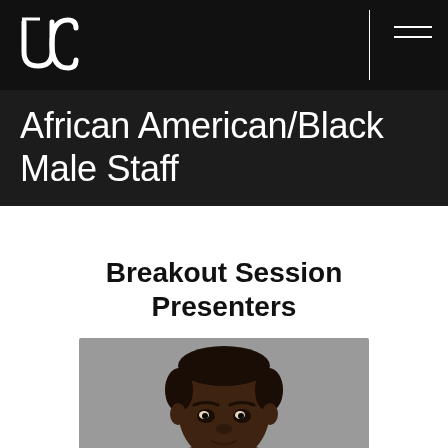UC logo and navigation header
African American/Black Male Staff
Breakout Session Presenters
[Figure (photo): Professional headshot photo of a young Black man against a grey background, cropped at the shoulders, face visible from forehead to chin.]